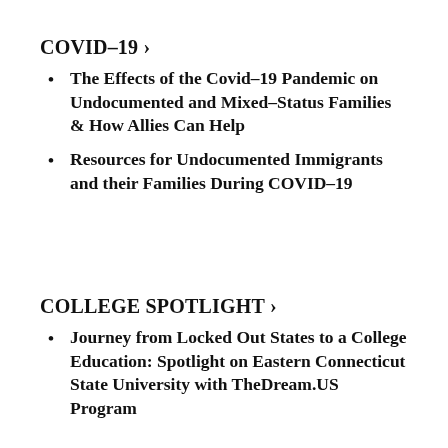COVID-19 ›
The Effects of the Covid-19 Pandemic on Undocumented and Mixed-Status Families & How Allies Can Help
Resources for Undocumented Immigrants and their Families During COVID-19
COLLEGE SPOTLIGHT ›
Journey from Locked Out States to a College Education: Spotlight on Eastern Connecticut State University with TheDream.US Program